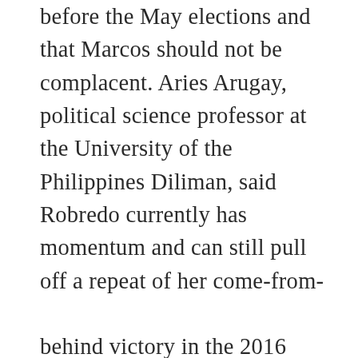before the May elections and that Marcos should not be complacent. Aries Arugay, political science professor at the University of the Philippines Diliman, said Robredo currently has momentum and can still pull off a repeat of her come-from-

behind victory in the 2016 polls. “The possibility is still there because our assumption is, if we base on the Pulse [Asia] survey, that’s already stale. That was taken more than a month ago,” Arugay told VOA. Arugay said that the surveys now validate the groundswell of support for